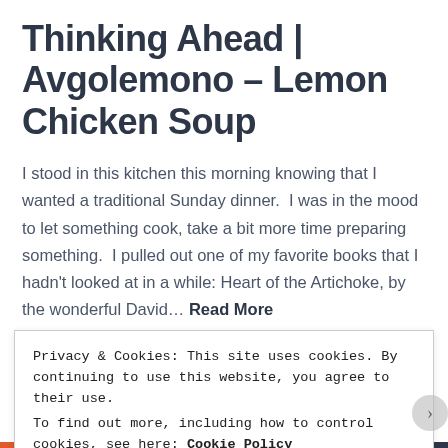Thinking Ahead | Avgolemono – Lemon Chicken Soup
I stood in this kitchen this morning knowing that I wanted a traditional Sunday dinner.  I was in the mood to let something cook, take a bit more time preparing something.  I pulled out one of my favorite books that I hadn't looked at in a while: Heart of the Artichoke, by the wonderful David… Read More
August 19, 2012    PersephonesKitchen    1 Comment
Privacy & Cookies: This site uses cookies. By continuing to use this website, you agree to their use.
To find out more, including how to control cookies, see here: Cookie Policy
Close and accept